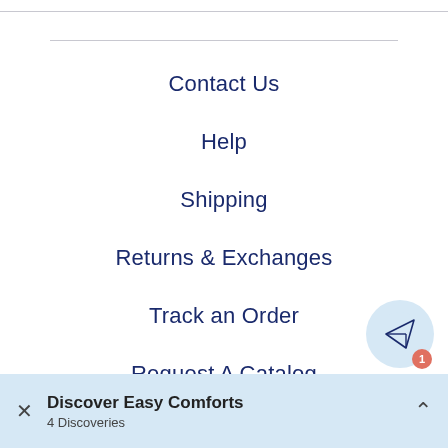Contact Us
Help
Shipping
Returns & Exchanges
Track an Order
Request A Catalog
Careers
[Figure (illustration): Paper plane / send icon button with notification badge showing 1]
Discover Easy Comforts
4 Discoveries